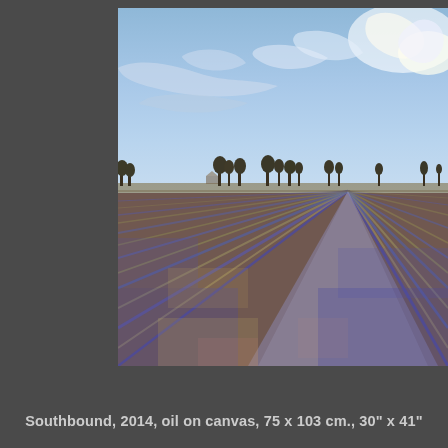[Figure (illustration): Oil painting titled 'Southbound' (2014) depicting a flat agricultural landscape under a dramatic blue sky with wispy clouds. In the foreground, plowed or swathed field rows recede in perspective lines toward the horizon. The field shows alternating blue-purple shadows and warm golden-yellow tones. A treeline and farm buildings appear on the distant horizon. The painting style is impressionistic with visible brushwork.]
Southbound,  2014, oil on canvas, 75 x 103 cm., 30" x 41"